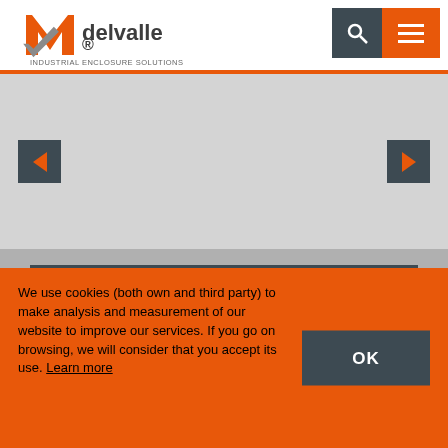[Figure (logo): Delvalle Industrial Enclosure Solutions logo with orange M and grey checkmark, text 'delvalle' and 'INDUSTRIAL ENCLOSURE SOLUTIONS']
[Figure (screenshot): Website navigation with search icon and hamburger menu on dark/orange background]
[Figure (screenshot): Image slider area with left and right arrow navigation buttons on grey background]
[Figure (logo): Delvalle diamond superhero logo mark in orange on dark grey card]
We use cookies (both own and third party) to make analysis and measurement of our website to improve our services. If you go on browsing, we will consider that you accept its use. Learn more